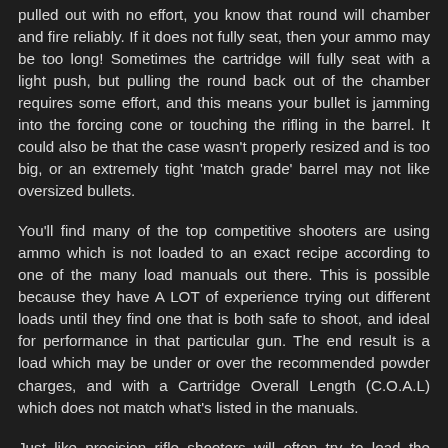pulled out with no effort, you know that round will chamber and fire reliably. If it does not fully seat, then your ammo may be too long! Sometimes the cartridge will fully seat with a light push, but pulling the round back out of the chamber requires some effort, and this means your bullet is jamming into the forcing cone or touching the rifling in the barrel. It could also be that the case wasn't properly resized and is too big, or an extremely tight 'match grade' barrel may not like oversized bullets.
You'll find many of the top competitive shooters are using ammo which is not loaded to an exact recipe according to one of the many load manuals out there. This is possible because they have A LOT of experience trying out different loads until they find one that is both safe to shoot, and ideal for performance in that particular gun. The end result is a load which may be under or over the recommended powder charges, and with a Cartridge Overall Length (C.O.A.L) which does not match what's listed in the manuals.
Just like precision rifle shooters will often try to load the longest possible cartridge to squeeze every bit of accuracy out of their shots, pistol shooters can use a similar technique to find the ideal C.O.A.L for